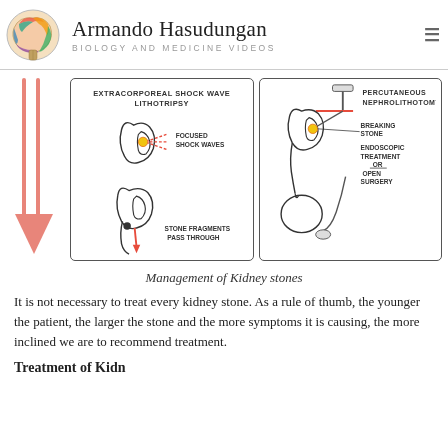Armando Hasudungan — Biology and Medicine Videos
[Figure (illustration): Two hand-drawn medical diagrams side by side. Left diagram: Extracorporeal Shock Wave Lithotripsy (ESWL) showing focused shock waves hitting a kidney stone, and stone fragments passing through. Right diagram: Percutaneous Nephrolithotomy showing a tool inserted into the kidney, breaking stone via endoscopic treatment or open surgery. A large pink/salmon downward arrow is on the left side.]
Management of Kidney stones
It is not necessary to treat every kidney stone. As a rule of thumb, the younger the patient, the larger the stone and the more symptoms it is causing, the more inclined we are to recommend treatment.
Treatment of Kidney...